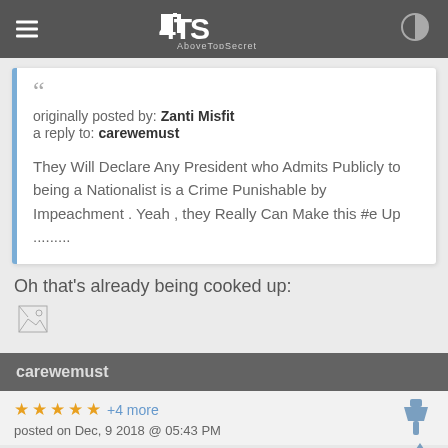AboveTopSecret (4TS)
originally posted by: Zanti Misfit
a reply to: carewemust

They Will Declare Any President who Admits Publicly to being a Nationalist is a Crime Punishable by Impeachment . Yeah , they Really Can Make this #e Up .........
Oh that's already being cooked up:
[Figure (photo): Broken image placeholder]
carewemust
+4 more
posted on Dec, 9 2018 @ 05:43 PM